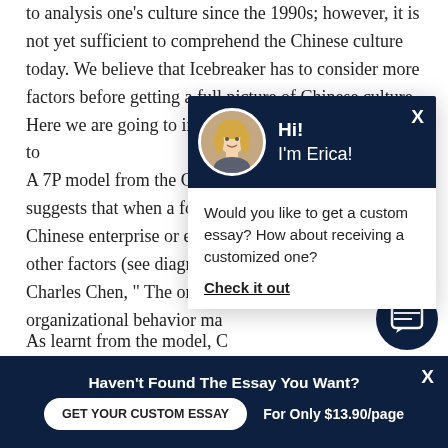to analysis one's culture since the 1990s; however, it is not yet sufficient to comprehend the Chinese culture today. We believe that Icebreaker has to consider more factors before getting a full picture of Chinese culture. Here we are going to introduce a 7P model to [obscured by popup]. A 7P model from the Chine[obscured] suggests that when a forei[obscured] Chinese enterprise or emp[obscured] other factors (see diagram[obscured] Charles Chen, " The orga[obscured]ure organizational behavior ma[obscured]
[Figure (screenshot): Chat popup with avatar of a blonde woman named Erica on dark navy background header. Body contains text: 'Would you like to get a custom essay? How about receiving a customized one?' and a bold underlined link 'Check it out'.]
As learnt from the model, C[obscured] themselves as a whole family, a concept from the
[Figure (screenshot): Chat bubble icon button (dark navy circle with message icon) in lower right area.]
Haven't Found The Essay You Want?
GET YOUR CUSTOM ESSAY    For Only $13.90/page